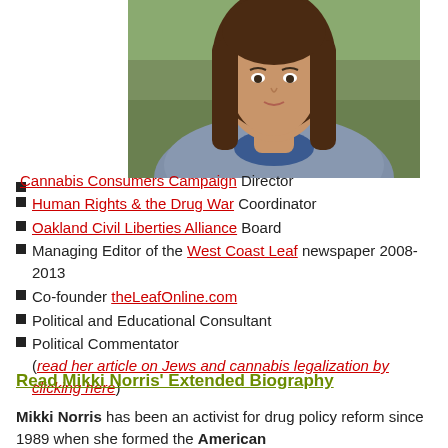[Figure (photo): Photo of Mikki Norris, a woman with long brown hair wearing a blue top and grey speckled jacket, outdoors with green grass in background]
Cannabis Consumers Campaign Director
Human Rights & the Drug War Coordinator
Oakland Civil Liberties Alliance Board
Managing Editor of the West Coast Leaf newspaper 2008-2013
Co-founder theLeafOnline.com
Political and Educational Consultant
Political Commentator (read her article on Jews and cannabis legalization by clicking here)
Read Mikki Norris' Extended Biography
Mikki Norris has been an activist for drug policy reform since 1989 when she formed the American